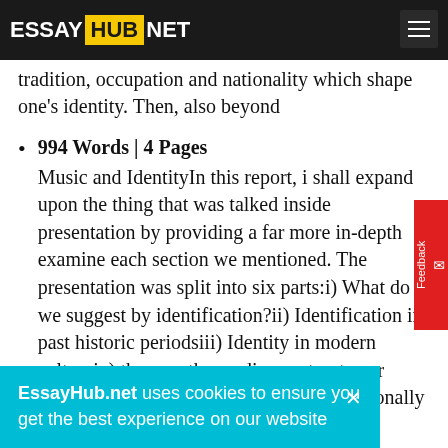ESSAY HUB NET
tradition, occupation and nationality which shape one's identity. Then, also beyond
994 Words | 4 Pages
Music and IdentityIn this report, i shall expand upon the thing that was talked inside presentation by providing a far more in-depth examine each section we mentioned. The presentation was split into six parts:i) What do we suggest by identification?ii) Identification in past historic periodsiii) Identity in modern cultureiv) the way the media constructs our identitiesv) an incident study: MTV additionally the music videovi) ...st by ...the way
EssayHub.net uses cookies to ensure you get the best experience on our website